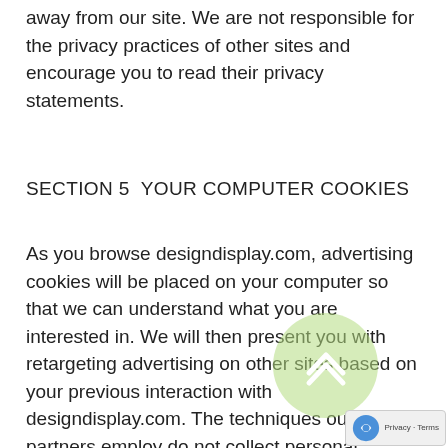away from our site. We are not responsible for the privacy practices of other sites and encourage you to read their privacy statements.
SECTION 5  YOUR COMPUTER COOKIES
As you browse designdisplay.com, advertising cookies will be placed on your computer so that we can understand what you are interested in. We will then present you with retargeting advertising on other sites based on your previous interaction with designdisplay.com. The techniques our partners employ do not collect personal information such as your name, email address, postal address or telephone number. You can visit this page (h ttp://www.networkadvertising.org/choices/) to opt ou